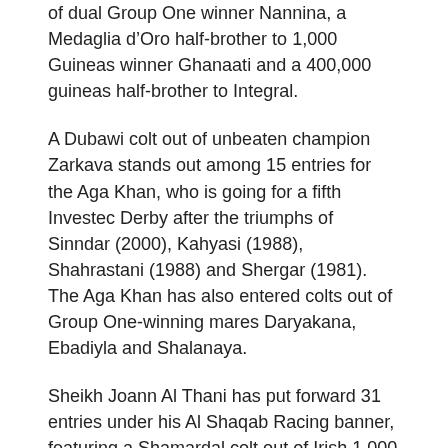of dual Group One winner Nannina, a Medaglia d’Oro half-brother to 1,000 Guineas winner Ghanaati and a 400,000 guineas half-brother to Integral.
A Dubawi colt out of unbeaten champion Zarkava stands out among 15 entries for the Aga Khan, who is going for a fifth Investec Derby after the triumphs of Sinndar (2000), Kahyasi (1988), Shahrastani (1988) and Shergar (1981). The Aga Khan has also entered colts out of Group One-winning mares Daryakana, Ebadiyla and Shalanaya.
Sheikh Joann Al Thani has put forward 31 entries under his Al Shaqab Racing banner, featuring a Shamardal colt out of Irish 1,000 Guineas scorer Nightime and a Cacique half-brother to Berkshire, who are in training with John Gosden and Sir Michael Stoute respectively.
Qatar Racing Limited, established by Sheikh Joaan’s cousin Sheikh Fahad Al Thani, has made 16 entries, including a Deep Impact daughter of Tilling Mile scorer Nee-Ana and a half-